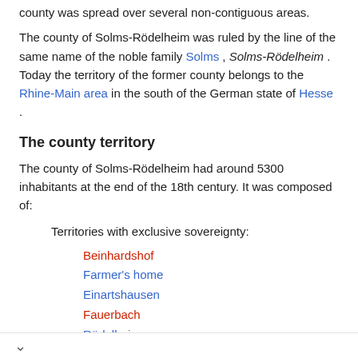county was spread over several non-contiguous areas.
The county of Solms-Rödelheim was ruled by the line of the same name of the noble family Solms , Solms-Rödelheim . Today the territory of the former county belongs to the Rhine-Main area in the south of the German state of Hesse .
The county territory
The county of Solms-Rödelheim had around 5300 inhabitants at the end of the 18th century. It was composed of:
Territories with exclusive sovereignty:
Beinhardshof
Farmer's home
Einartshausen
Fauerbach
Rödelheim
Nieder-Wöllstadt
Ossenheim